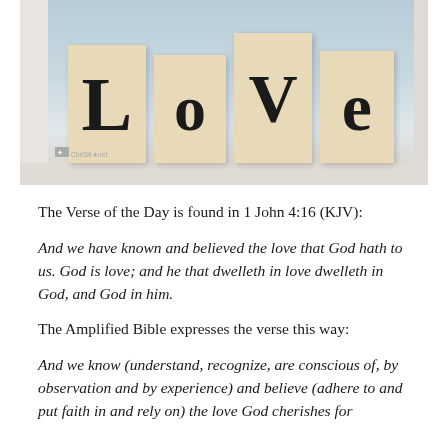[Figure (photo): Photo of wooden letter tiles spelling 'Love' on a windowsill, with white window frame visible]
The Verse of the Day is found in 1 John 4:16 (KJV):
And we have known and believed the love that God hath to us. God is love; and he that dwelleth in love dwelleth in God, and God in him.
The Amplified Bible expresses the verse this way:
And we know (understand, recognize, are conscious of, by observation and by experience) and believe (adhere to and put faith in and rely on) the love God cherishes for